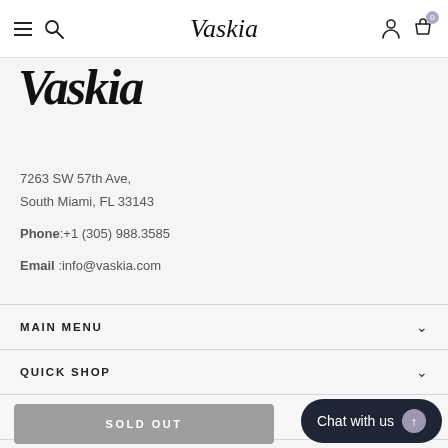Vaskia — navigation header with hamburger, search, account, and cart icons
[Figure (logo): Vaskia brand logo in large bold italic script text]
7263 SW 57th Ave,
South Miami, FL 33143
Phone: +1 (305) 988.3585
Email :info@vaskia.com
MAIN MENU
QUICK SHOP
CUSTOMER SERVICES
SOLD OUT
Chat with us